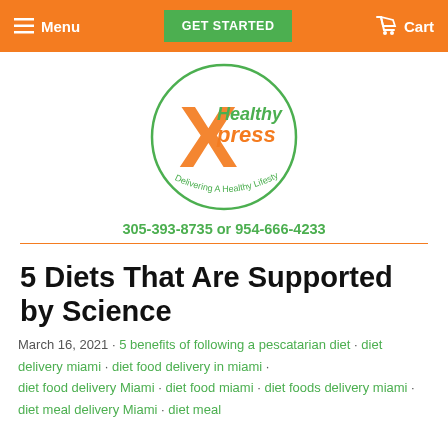Menu  GET STARTED  Cart
[Figure (logo): Healthy Xpress logo — circular green border with orange X and green 'Healthy Xpress' text, tagline 'Delivering A Healthy Lifestyle']
305-393-8735 or 954-666-4233
5 Diets That Are Supported by Science
March 16, 2021 · 5 benefits of following a pescatarian diet · diet delivery miami · diet food delivery in miami · diet food delivery Miami · diet food miami · diet foods delivery miami · diet meal delivery Miami · diet meal